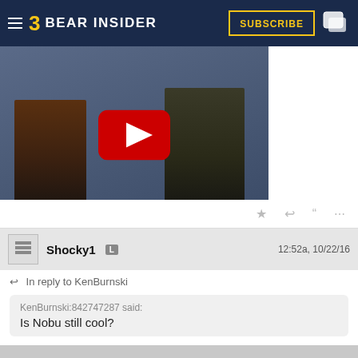BEAR INSIDER | SUBSCRIBE
[Figure (screenshot): YouTube video thumbnail showing two people seated on stools at what appears to be a press conference, with a large red YouTube play button overlay in the center. A '[/video]' label appears to the right.]
Shocky1  L    12:52a, 10/22/16
In reply to KenBurnski
KenBurnski:842747287 said:
Is Nobu still cool?
yeah nobu is probably better than fish nite at the dorms or anything that domingo is gonna cook up